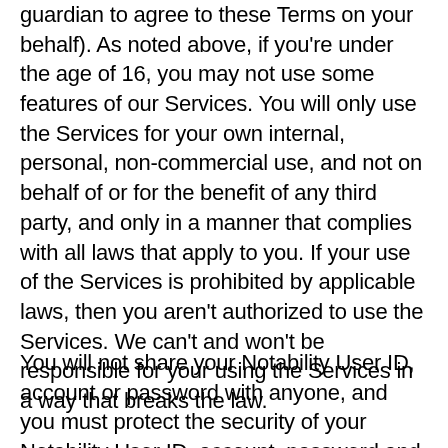guardian to agree to these Terms on your behalf). As noted above, if you're under the age of 16, you may not use some features of our Services. You will only use the Services for your own internal, personal, non-commercial use, and not on behalf of or for the benefit of any third party, and only in a manner that complies with all laws that apply to you. If your use of the Services is prohibited by applicable laws, then you aren't authorized to use the Services. We can't and won't be responsible for your using the Services in a way that breaks the law.
You will not share your Notability User ID, account or password with anyone, and you must protect the security of your Notability User ID, account, password and any other access tools or credentials. You're responsible for any activity associated with